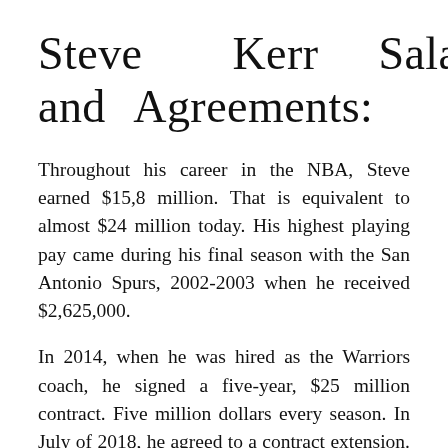Steve Kerr Salaries and Agreements:
Throughout his career in the NBA, Steve earned $15,8 million. That is equivalent to almost $24 million today. His highest playing pay came during his final season with the San Antonio Spurs, 2002-2003 when he received $2,625,000.
In 2014, when he was hired as the Warriors coach, he signed a five-year, $25 million contract. Five million dollars every season. In July of 2018, he agreed to a contract extension. The conditions were not disclosed, although it is thought that the